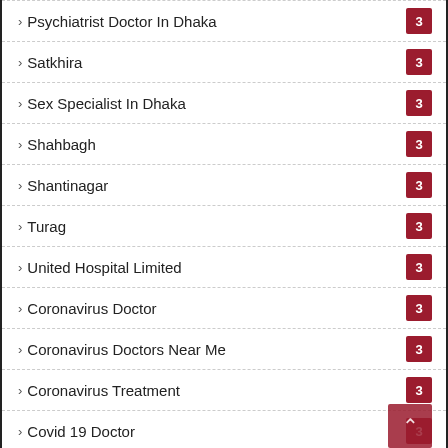Psychiatrist Doctor In Dhaka — 3
Satkhira — 3
Sex Specialist In Dhaka — 3
Shahbagh — 3
Shantinagar — 3
Turag — 3
United Hospital Limited — 3
Coronavirus Doctor — 3
Coronavirus Doctors Near Me — 3
Coronavirus Treatment — 3
Covid 19 Doctor — 3
Covid 19 Doctors — 3
Covid 19 Doctors Near Me — 3
Covid Doctor — 3